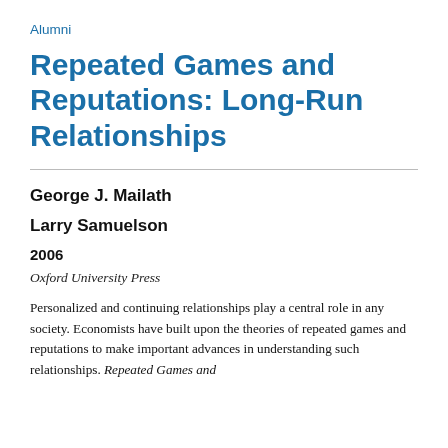Alumni
Repeated Games and Reputations: Long-Run Relationships
George J. Mailath
Larry Samuelson
2006
Oxford University Press
Personalized and continuing relationships play a central role in any society. Economists have built upon the theories of repeated games and reputations to make important advances in understanding such relationships. Repeated Games and